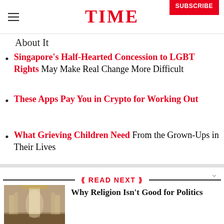TIME | SUBSCRIBE
About It
Singapore's Half-Hearted Concession to LGBT Rights May Make Real Change More Difficult
These Apps Pay You in Crypto for Working Out
What Grieving Children Need From the Grown-Ups in Their Lives
READ NEXT
Why Religion Isn't Good for Politics
[Figure (photo): Interior of a grand religious building with tall columns and warm lighting]